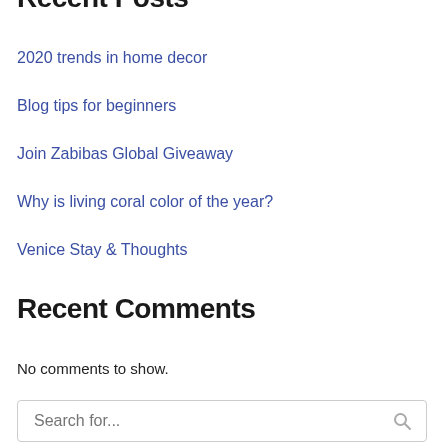Recent Posts
2020 trends in home decor
Blog tips for beginners
Join Zabibas Global Giveaway
Why is living coral color of the year?
Venice Stay & Thoughts
Recent Comments
No comments to show.
Search for...